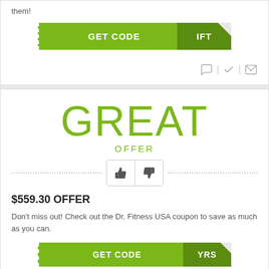them!
[Figure (other): Green GET CODE button with arrow and IFT text]
[Figure (other): Icons row: speech bubble, checkmark, envelope]
GREAT
OFFER
[Figure (other): Thumbs up and thumbs down buttons between dotted lines]
$559.30 OFFER
Don't miss out! Check out the Dr. Fitness USA coupon to save as much as you can.
[Figure (other): Green GET CODE button with arrow at bottom]